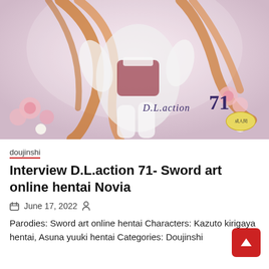[Figure (illustration): Anime cover art showing a female character in white and red outfit with long orange hair, flowers, and 'D.L.action 71' text with a yellow circular badge/logo]
doujinshi
Interview D.L.action 71- Sword art online hentai Novia
June 17, 2022
Parodies: Sword art online hentai Characters: Kazuto kirigaya hentai, Asuna yuuki hentai Categories: Doujinshi